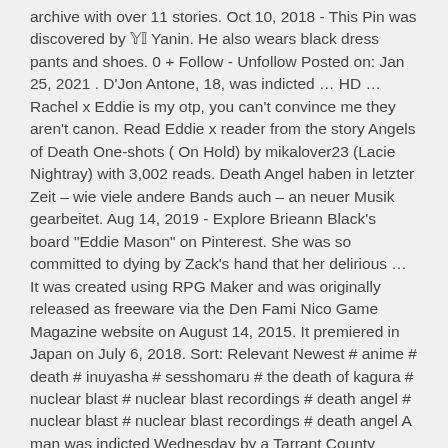archive with over 11 stories. Oct 10, 2018 - This Pin was discovered by 𝕐𝕀 Yanin. He also wears black dress pants and shoes. 0 + Follow - Unfollow Posted on: Jan 25, 2021 . D'Jon Antone, 18, was indicted … HD … Rachel x Eddie is my otp, you can't convince me they aren't canon. Read Eddie x reader from the story Angels of Death One-shots ( On Hold) by mikalover23 (Lacie Nightray) with 3,002 reads. Death Angel haben in letzter Zeit – wie viele andere Bands auch – an neuer Musik gearbeitet. Aug 14, 2019 - Explore Brieann Black's board "Eddie Mason" on Pinterest. She was so committed to dying by Zack's hand that her delirious … It was created using RPG Maker and was originally released as freeware via the Den Fami Nico Game Magazine website on August 14, 2015. It premiered in Japan on July 6, 2018. Sort: Relevant Newest # anime # death # inuyasha # sesshomaru # the death of kagura # nuclear blast # nuclear blast recordings # death angel # nuclear blast # nuclear blast recordings # death angel A man was indicted Wednesday by a Tarrant County